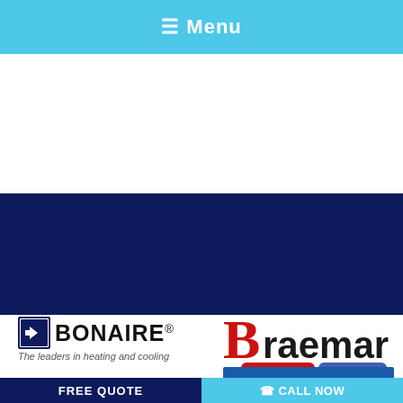≡ Menu
[Figure (logo): Bonaire logo — arrow icon in dark navy box, bold text BONAIRE® with tagline: The leaders in heating and cooling]
[Figure (logo): Braemar logo — stylized red/blue B with Braemar text and HEATING COOLING bar beneath]
FREE QUOTE   ☎ CALL NOW